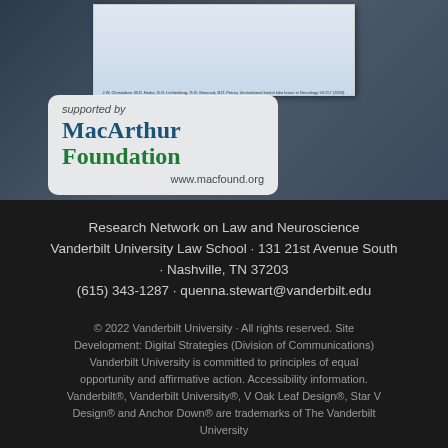[Figure (screenshot): Slide preview showing a document/presentation page thumbnail with small citation text at the bottom]
[Figure (logo): MacArthur Foundation logo with 'supported by' text above and 'www.macfound.org' below, displayed on a rounded rectangle white/grey background]
Research Network on Law and Neuroscience
Vanderbilt University Law School · 131 21st Avenue South · Nashville, TN 37203
(615) 343-1287 · quenna.stewart@vanderbilt.edu
© 2022 Vanderbilt University · All rights reserved. Site Development: Digital Strategies (Division of Communications) Vanderbilt University is committed to principles of equal opportunity and affirmative action. Accessibility information. Vanderbilt®, Vanderbilt University®, V Oak Leaf Design®, Star V Design® and Anchor Down® are trademarks of The Vanderbilt University